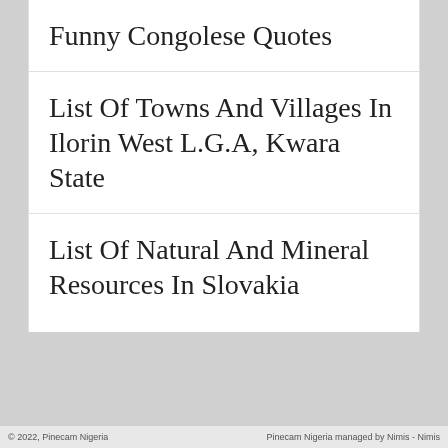Funny Congolese Quotes
List Of Towns And Villages In Ilorin West L.G.A, Kwara State
List Of Natural And Mineral Resources In Slovakia
© 2022, Pinecam Nigeria   Pinecam Nigeria managed by Nimis - Nimis